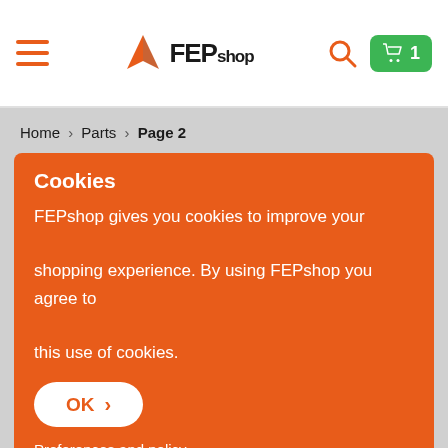FEPshop — hamburger menu, logo, search icon, cart (1)
Home > Parts > Page 2
Cookies
FEPshop gives you cookies to improve your shopping experience. By using FEPshop you agree to this use of cookies.
OK >
Preferences and policy
Sort by popularity
< 1 2 3 ... 23 >